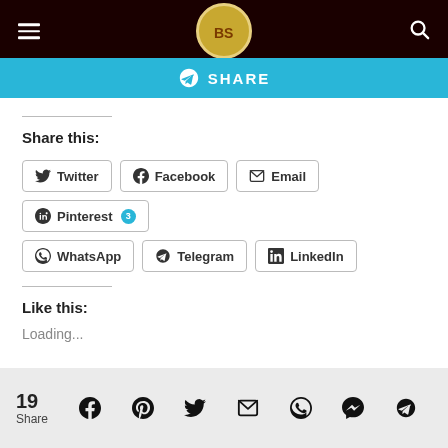Navigation header with hamburger menu, logo, and search icon
[Figure (screenshot): Telegram SHARE button bar in cyan/blue color]
Share this:
Twitter
Facebook
Email
Pinterest 3
WhatsApp
Telegram
LinkedIn
Like this:
Loading...
19 Share — social media icon row: Facebook, Pinterest, Twitter, Email, WhatsApp, Messenger, Telegram